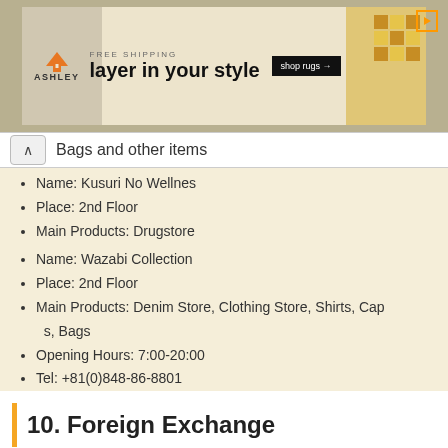[Figure (screenshot): Ashley Furniture advertisement banner: FREE SHIPPING, 'layer in your style', shop rugs button, decorative rug pattern background]
Bags and other items
Name: Kusuri No Wellnes
Place: 2nd Floor
Main Products: Drugstore
Name: Wazabi Collection
Place: 2nd Floor
Main Products: Denim Store, Clothing Store, Shirts, Caps, Bags
Opening Hours: 7:00-20:00
Tel: +81(0)848-86-8801
10. Foreign Exchange
[Figure (photo): Photo of various foreign currency banknotes spread out, including US dollars, Euros, and other currencies]